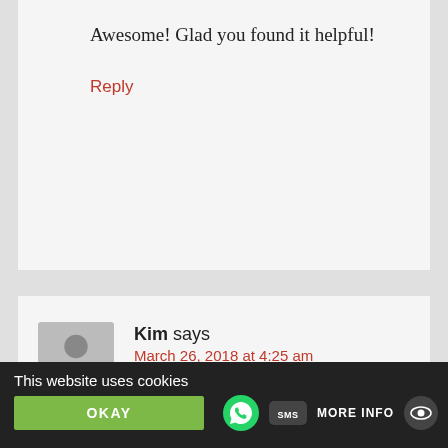Awesome! Glad you found it helpful!
Reply
Kim says
March 26, 2018 at 4:25 am
So it looks like the stones are touching each other instead of leaving some room
inbetween the stones and putting in some
This website uses cookies
OKAY
MORE INFO